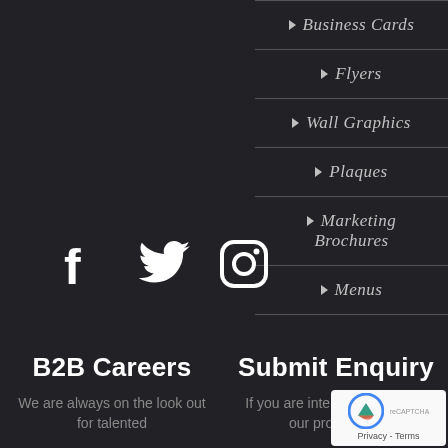▶ Business Cards
▶ Flyers
▶ Wall Graphics
▶ Plaques
▶ Marketing Brochures
▶ Menus
[Figure (illustration): Social media icons: Facebook, Twitter, Instagram]
B2B Careers
We are always on the look out for talented
Submit Enquiry
If you are interested in one of our products or